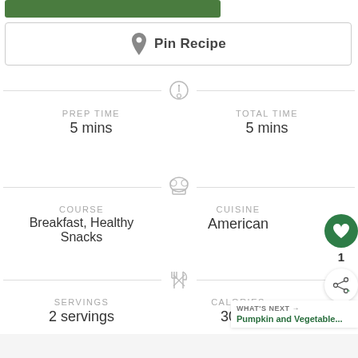[Figure (other): Green button bar at top]
Pin Recipe
PREP TIME
5 mins
TOTAL TIME
5 mins
COURSE
Breakfast, Healthy Snacks
CUISINE
American
SERVINGS
2 servings
CALORIES
308 k